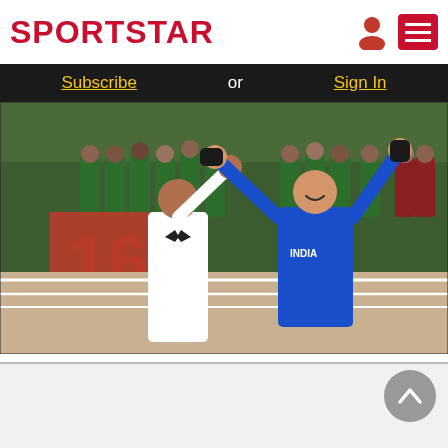SPORTSTAR
Subscribe  or  Sign In
[Figure (photo): Boxing match photo: A female boxer in blue India uniform celebrates with arms raised, alongside a referee in white shirt and bow tie. Background shows spectators in green uniforms. A '16' banner is visible.]
Pooja Rani defeated Thailand's Pornnipa Chutee to seal her maiden Olympic spot, on Sunday. (File Image) | Photo Credit: M. MOORTHY